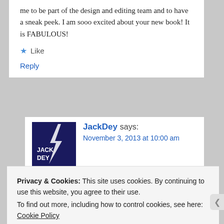me to be part of the design and editing team and to have a sneak peek. I am sooo excited about your new book! It is FABULOUS!
Like
Reply
JackDey says:
November 3, 2013 at 10:00 am
[Figure (photo): JackDey avatar - dark blue background with white lightning bolt and text JACK DEY]
Thanks PG for E. I agree that Genesis is an important foundational book, the cornerstone of
Privacy & Cookies: This site uses cookies. By continuing to use this website, you agree to their use.
To find out more, including how to control cookies, see here: Cookie Policy
Close and accept